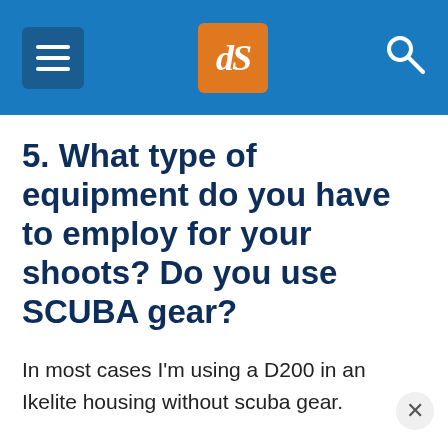dPS
5. What type of equipment do you have to employ for your shoots? Do you use SCUBA gear?
In most cases I'm using a D200 in an Ikelite housing without scuba gear.
6. Are most of your shoots